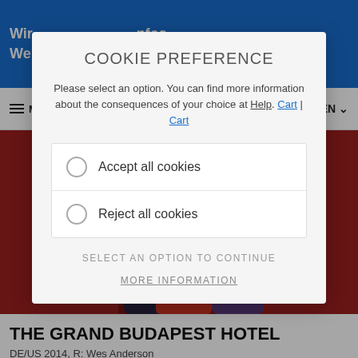Wir | infos.
We | ion.
M
MENU | EN
[Figure (photo): Scene from The Grand Budapest Hotel with actors in costumes in front of red doors]
COOKIE PREFERENCE
Please select an option. You can find more information about the consequences of your choice at Help. Cart | Cart
Accept all cookies
Reject all cookies
SELECT AN OPTION TO CONTINUE
MORE INFORMATION
THE GRAND BUDAPEST HOTEL
DE/US 2014, R: Wes Anderson